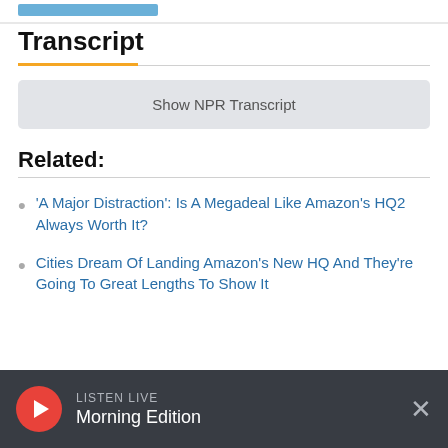Transcript
Show NPR Transcript
Related:
'A Major Distraction': Is A Megadeal Like Amazon's HQ2 Always Worth It?
Cities Dream Of Landing Amazon's New HQ And They're Going To Great Lengths To Show It
LISTEN LIVE
Morning Edition